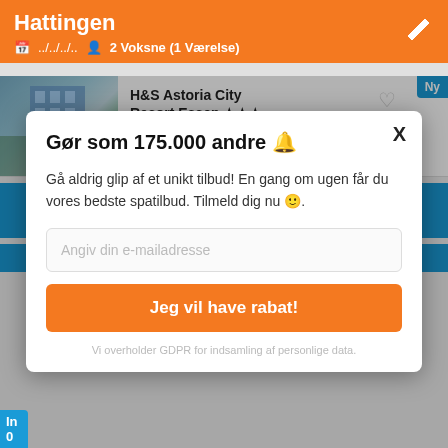Hattingen
..../../..  2 Voksne (1 Værelse)
7.7  H&S Astoria City Resort Essen ★★★  Essen · 16.7 km fra Hattingen  Ny
Gør som 175.000 andre 🔔
Gå aldrig glip af et unikt tilbud! En gang om ugen får du vores bedste spatilbud. Tilmeld dig nu 🙂.
Angiv din e-mailadresse
Jeg vil have rabat!
Vi overholder GDPR for indsamling af personlige data.